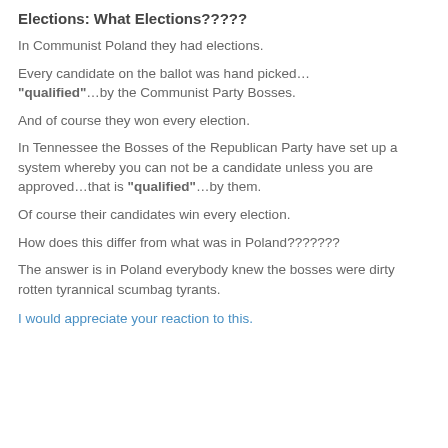Elections: What Elections?????
In Communist Poland they had elections.
Every candidate on the ballot was hand picked… "qualified"…by the Communist Party Bosses.
And of course they won every election.
In Tennessee the Bosses of the Republican Party have set up a system whereby you can not be a candidate unless you are approved…that is "qualified"…by them.
Of course their candidates win every election.
How does this differ from what was in Poland???????
The answer is in Poland everybody knew the bosses were dirty rotten tyrannical scumbag tyrants.
I would appreciate your reaction to this.